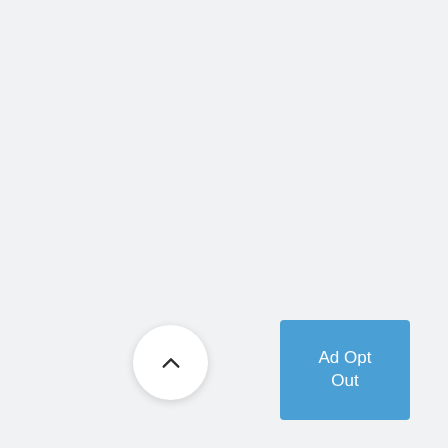[Figure (other): Scroll-to-top button: circular white button with upward-pointing chevron arrow]
[Figure (other): Ad Opt Out button: blue rectangular button with white text reading 'Ad Opt Out']